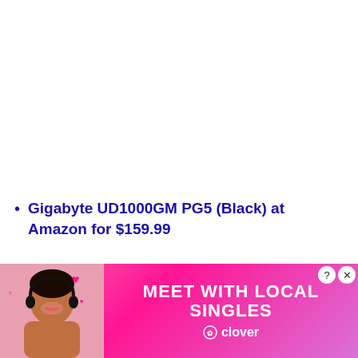Gigabyte UD1000GM PG5 (Black) at Amazon for $159.99
Image 1 of 11
[Figure (photo): Gigabyte UD1000GM PG5 power supply unit, black, viewed from top/angle showing mesh fan grille]
[Figure (photo): Advertisement banner: Meet with Local Singles - Clover dating app ad, with woman wearing headset on left side, pink/purple gradient background, heart decorations]